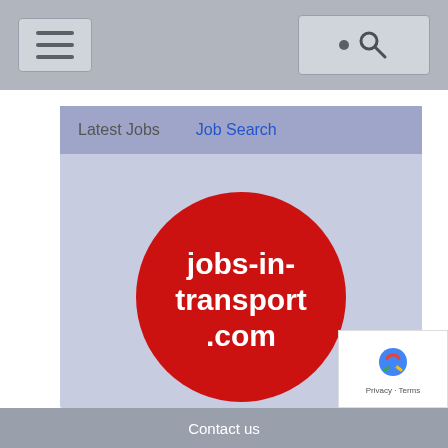[Figure (screenshot): Mobile website screenshot of jobs-in-transport.com showing navigation bar with hamburger menu and search button]
Latest Jobs
Job Search
[Figure (logo): Red circular logo with white text reading 'jobs-in-transport.com']
Strategic Transport Lead – Air Quality
Portsmouth City Council
Portsmouth
£40,578 - £44,624
Principal Data Analyst
Contact us